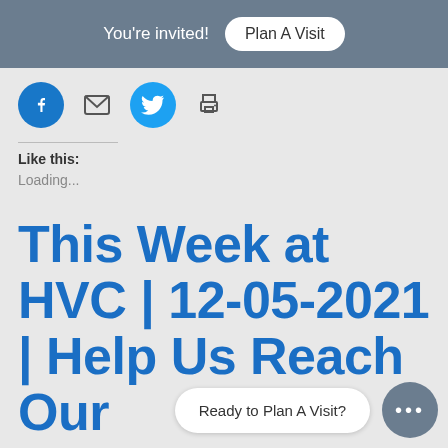You're invited! Plan A Visit
[Figure (other): Social share icons row: Facebook (blue circle), email (envelope), Twitter (blue circle), print (printer icon)]
Like this:
Loading...
This Week at HVC | 12-05-2021 | Help Us Reach Our Goals
Ready to Plan A Visit?